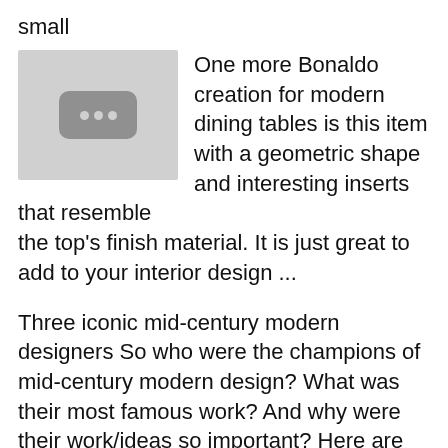small
[Figure (photo): Thumbnail image placeholder with grey background and a rounded rectangle icon with three dots]
One more Bonaldo creation for modern dining tables is this item with a geometric shape and interesting inserts that resemble the top's finish material. It is just great to add to your interior design ...
Three iconic mid-century modern designers So who were the champions of mid-century modern design? What was their most famous work? And why were their work/ideas so important? Here are three iconic mid ...
From shelving and artistic prints to tapestries and